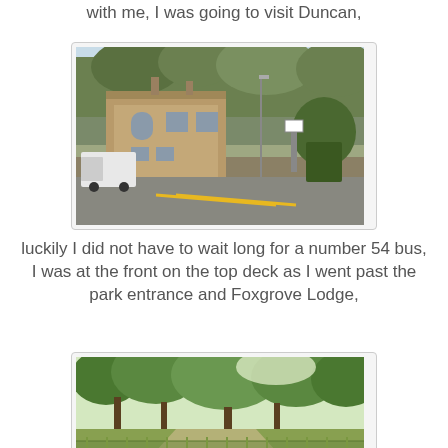with me, I was going to visit Duncan,
[Figure (photo): A street scene showing a stone building (lodge or gatehouse) on the left with a white van parked outside, a road curving to the right, and dense green trees in the background. A small gazebo or shelter covered in ivy is visible on the right side.]
luckily I did not have to wait long for a number 54 bus, I was at the front on the top deck as I went past the park entrance and Foxgrove Lodge,
[Figure (photo): A lush green park scene viewed from a bus top deck, showing large mature trees lining a path, with grass and a fence visible in the foreground.]